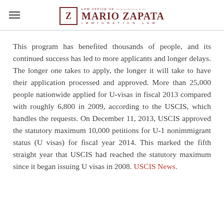LAW OFFICE OF MARIO ZAPATA IMMIGRATION LAW
This program has benefited thousands of people, and its continued success has led to more applicants and longer delays. The longer one takes to apply, the longer it will take to have their application processed and approved. More than 25,000 people nationwide applied for U-visas in fiscal 2013 compared with roughly 6,800 in 2009, according to the USCIS, which handles the requests. On December 11, 2013, USCIS approved the statutory maximum 10,000 petitions for U-1 nonimmigrant status (U visas) for fiscal year 2014. This marked the fifth straight year that USCIS had reached the statutory maximum since it began issuing U visas in 2008. USCIS News.